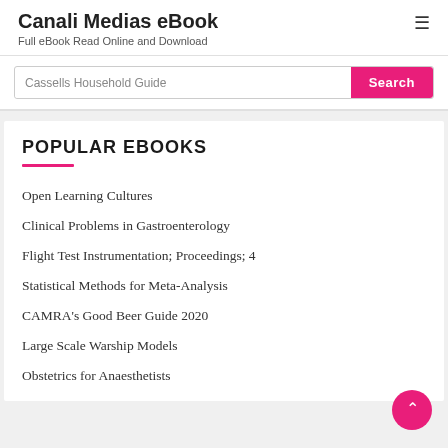Canali Medias eBook
Full eBook Read Online and Download
Cassells Household Guide [Search]
POPULAR EBOOKS
Open Learning Cultures
Clinical Problems in Gastroenterology
Flight Test Instrumentation; Proceedings; 4
Statistical Methods for Meta-Analysis
CAMRA's Good Beer Guide 2020
Large Scale Warship Models
Obstetrics for Anaesthetists